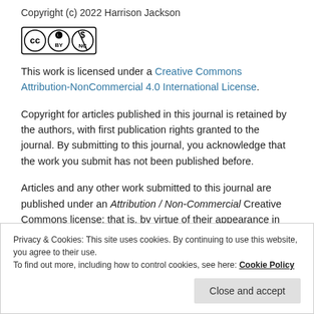Copyright (c) 2022 Harrison Jackson
[Figure (logo): Creative Commons BY-NC license badge with CC, BY, and NC icons in a bordered rectangle]
This work is licensed under a Creative Commons Attribution-NonCommercial 4.0 International License.
Copyright for articles published in this journal is retained by the authors, with first publication rights granted to the journal. By submitting to this journal, you acknowledge that the work you submit has not been published before.
Articles and any other work submitted to this journal are published under an Attribution / Non-Commercial Creative Commons license; that is, by virtue of their appearance in this
Privacy & Cookies: This site uses cookies. By continuing to use this website, you agree to their use.
To find out more, including how to control cookies, see here: Cookie Policy
Close and accept